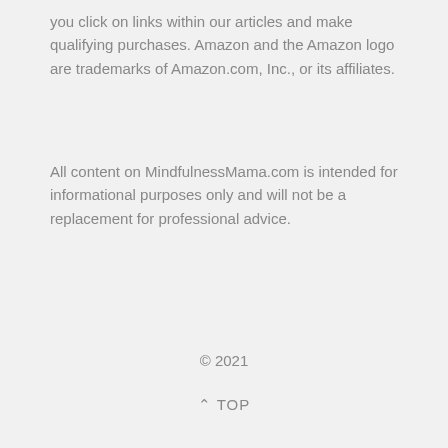you click on links within our articles and make qualifying purchases. Amazon and the Amazon logo are trademarks of Amazon.com, Inc., or its affiliates.
All content on MindfulnessMama.com is intended for informational purposes only and will not be a replacement for professional advice.
© 2021
^ TOP